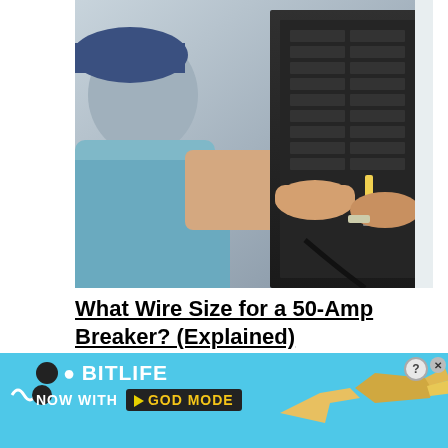[Figure (photo): Electrician working on a circuit breaker panel, using a screwdriver, viewed from over the shoulder]
What Wire Size for a 50-Amp Breaker? (Explained)
[Figure (photo): Close-up of circuit breakers including an Eaton Combination Type AF breaker labeled TEST with a yellow button, and a breaker numbered 15]
[Figure (infographic): BitLife advertisement banner: BitLife - Now with GOD MODE, with hand pointing graphics and wave icon. Close (x) and question mark buttons in top right.]